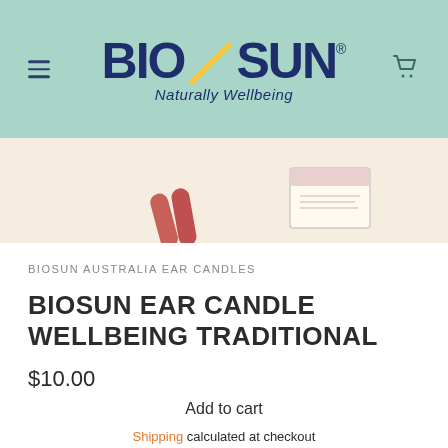BIOSUN® Naturally Wellbeing
[Figure (photo): Product photo of BioSun ear candles on a warm beige background]
BIOSUN AUSTRALIA EAR CANDLES
BIOSUN EAR CANDLE WELLBEING TRADITIONAL
$10.00
Add to cart
Shipping calculated at checkout